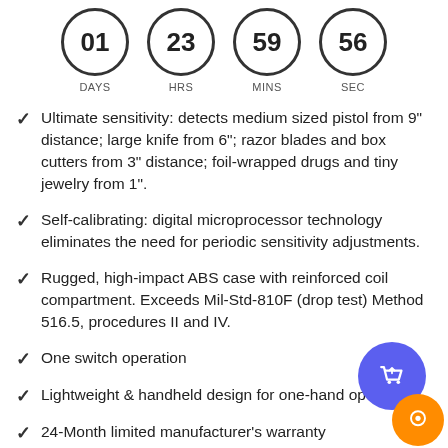[Figure (infographic): Countdown timer showing 01 DAYS, 23 HRS, 59 MINS, 56 SEC in circular displays]
Ultimate sensitivity: detects medium sized pistol from 9" distance; large knife from 6"; razor blades and box cutters from 3" distance; foil-wrapped drugs and tiny jewelry from 1".
Self-calibrating: digital microprocessor technology eliminates the need for periodic sensitivity adjustments.
Rugged, high-impact ABS case with reinforced coil compartment. Exceeds Mil-Std-810F (drop test) Method 516.5, procedures II and IV.
One switch operation
Lightweight & handheld design for one-hand operation.
24-Month limited manufacturer's warranty